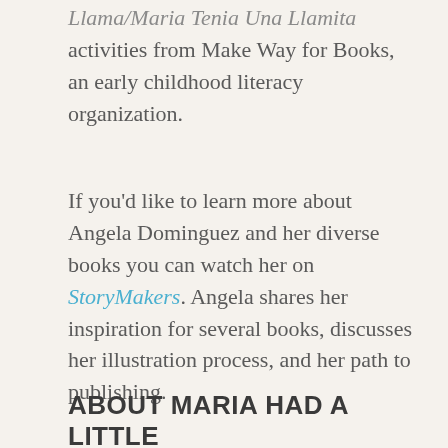Llama/Maria Tenia Una Llamita activities from Make Way for Books, an early childhood literacy organization.
If you'd like to learn more about Angela Dominguez and her diverse books you can watch her on StoryMakers. Angela shares her inspiration for several books, discusses her illustration process, and her path to publishing.
ABOUT MARIA HAD A LITTLE